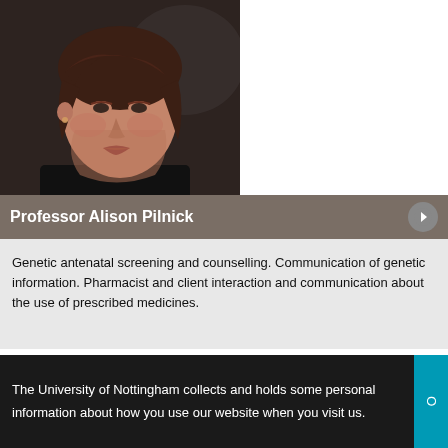[Figure (photo): Portrait photo of Professor Alison Pilnick, a woman with short brown hair, wearing a dark top, photographed against a dark background.]
Professor Alison Pilnick
Genetic antenatal screening and counselling. Communication of genetic information. Pharmacist and client interaction and communication about the use of prescribed medicines.
The University of Nottingham collects and holds some personal information about how you use our website when you visit us.
See our policy